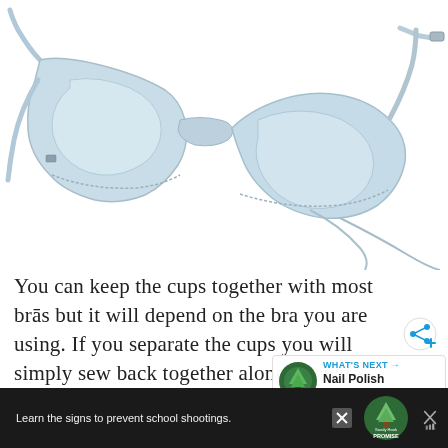[Figure (photo): Light blue bra with separated cups laid flat on a white background, straps visible]
You can keep the cups together with most bras but it will depend on the bra you are using. If you separate the cups you will simply sew back together along the wire line.
[Figure (infographic): Share button overlay (circular with share icon) and 'What's Next' overlay showing Nail Polish Seashells]
Learn the signs to prevent school shootings. Sandy Hook PROMISE